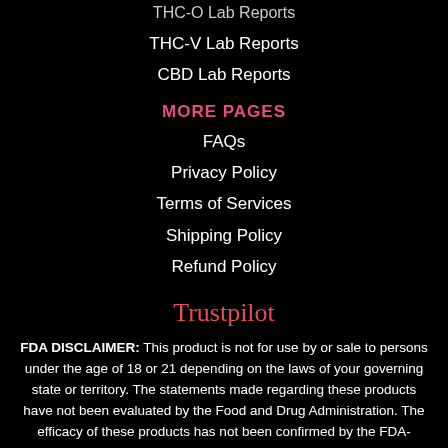THC-O Lab Reports
THC-V Lab Reports
CBD Lab Reports
MORE PAGES
FAQs
Privacy Policy
Terms of Services
Shipping Policy
Refund Policy
Trustpilot
FDA DISCLAIMER: This product is not for use by or sale to persons under the age of 18 or 21 depending on the laws of your governing state or territory. The statements made regarding these products have not been evaluated by the Food and Drug Administration. The efficacy of these products has not been confirmed by the FDA-approved research. These products are not intended to diagnose, treat, cure or prevent any disease. All information from health care practitioners. Please consult your health care professional about potential interactions or other possible complications before using any product. The Federal